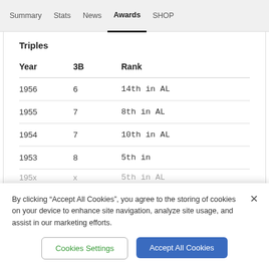Summary  Stats  News  Awards  SHOP
Triples
| Year | 3B | Rank |
| --- | --- | --- |
| 1956 | 6 | 14th in AL |
| 1955 | 7 | 8th in AL |
| 1954 | 7 | 10th in AL |
| 1953 | 8 | 5th in |
| 195x | x | 5th in AL |
By clicking “Accept All Cookies”, you agree to the storing of cookies on your device to enhance site navigation, analyze site usage, and assist in our marketing efforts.
Cookies Settings
Accept All Cookies